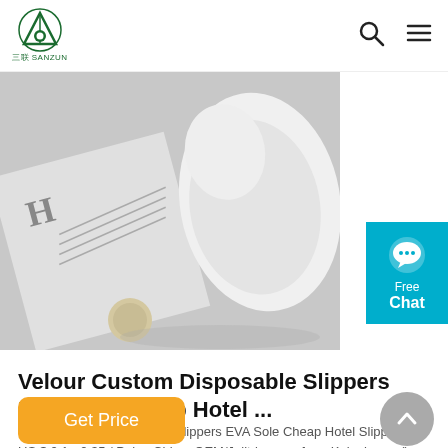三联 SANZUN logo with search and menu icons
[Figure (photo): Black and white photo of hotel slippers on a surface with a newspaper/magazine]
[Figure (other): Free Chat button widget in cyan/teal color with speech bubble icon]
Velour Custom Disposable Slippers EVA Sole Cheap Hotel ...
Velour Custom Disposable Slippers EVA Sole Cheap Hotel Slippers, US $ 0.1 - 0.35 / Pair, , China, OEM/Julitrip, urce from Kolunhome () Hotel on .
Get Price